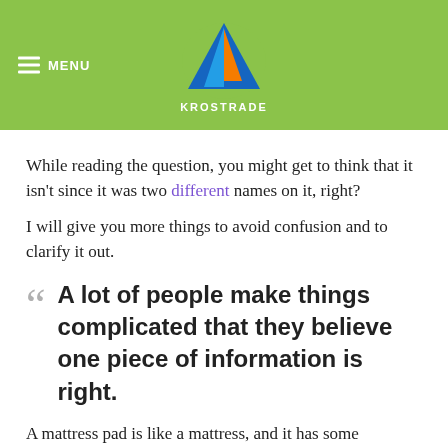MENU | KROSTRADE
While reading the question, you might get to think that it isn't since it was two different names on it, right?
I will give you more things to avoid confusion and to clarify it out.
A lot of people make things complicated that they believe one piece of information is right.
A mattress pad is like a mattress, and it has some thickness on it containing some foam.
Or when you say mattress pad, it must be a topper for a